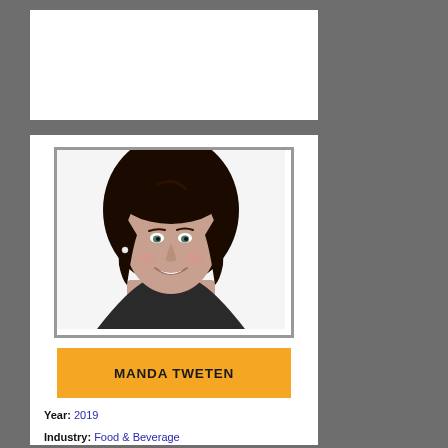[Figure (photo): Professional headshot of Manda Tweten, a woman with long dark brown hair, smiling, wearing a dark jacket with a pearl necklace, white background]
MANDA TWETEN
Year: 2019
Industry: Food & Beverage
Company: Archer Daniels Midland Company